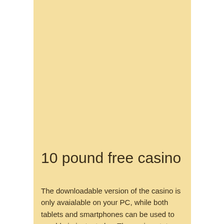10 pound free casino
The downloadable version of the casino is only avaialable on your PC, while both tablets and smartphones can be used to gamble in instant play. The casino states that using Chrome would be best for both iOS and Android users. White Lotus Casino Deposit & Withdrawal Methods, 10 pound